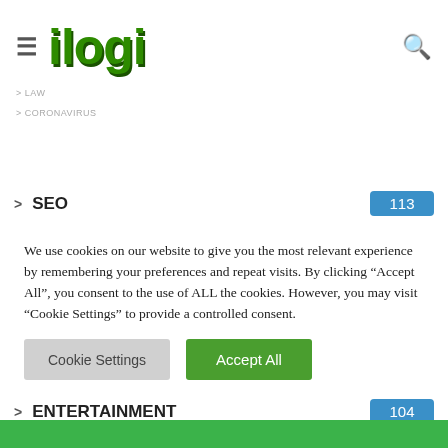ilogi
SEO 113
TECHNOLOGY 317
PC 109
MOBILE 105
ENTERTAINMENT 104
We use cookies on our website to give you the most relevant experience by remembering your preferences and repeat visits. By clicking "Accept All", you consent to the use of ALL the cookies. However, you may visit "Cookie Settings" to provide a controlled consent.
Cookie Settings | Accept All